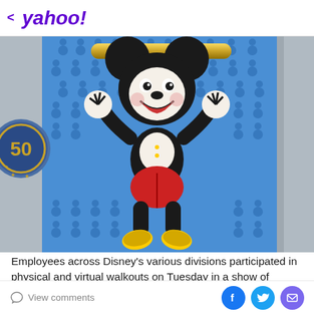< yahoo!
[Figure (photo): Large Mickey Mouse figure/statue on a blue patterned background with Mickey Mouse ear silhouettes. A gold rod is behind the figure. To the left is a circular '50' anniversary emblem on a gray wall. Blue sky visible at top.]
Employees across Disney's various divisions participated in physical and virtual walkouts on Tuesday in a show of
View comments